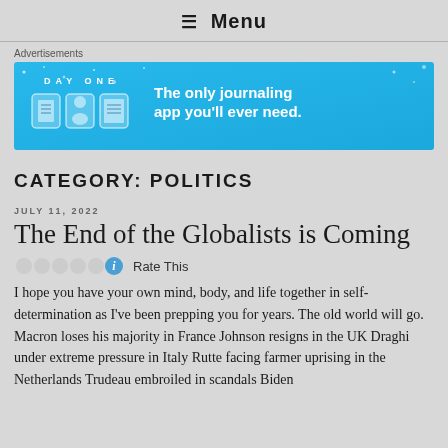≡ Menu
Advertisements
[Figure (other): Day One journaling app advertisement banner. Blue background with 'DAY ONE' text, three app icon illustrations, and the tagline 'The only journaling app you'll ever need.']
CATEGORY: POLITICS
JULY 11, 2022
The End of the Globalists is Coming
Rate This
I hope you have your own mind, body, and life together in self-determination as I've been prepping you for years. The old world will go. Macron loses his majority in France Johnson resigns in the UK Draghi under extreme pressure in Italy Rutte facing farmer uprising in the Netherlands Trudeau embroiled in scandals Biden